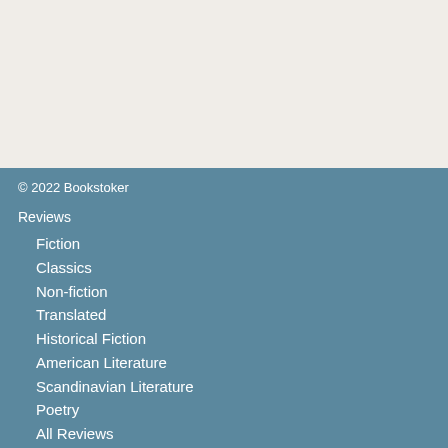© 2022 Bookstoker
Reviews
Fiction
Classics
Non-fiction
Translated
Historical Fiction
American Literature
Scandinavian Literature
Poetry
All Reviews
In the mood for…
… something 'light'
… something funny
… something challenging
… something thrilling